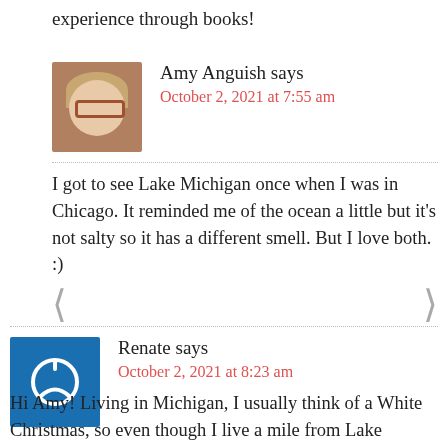experience through books!
Amy Anguish says
October 2, 2021 at 7:55 am
I got to see Lake Michigan once when I was in Chicago. It reminded me of the ocean a little but it’s not salty so it has a different smell. But I love both. :)
Renate says
October 2, 2021 at 8:23 am
Hi Amy! Living in Michigan, I usually think of a White Christmas, so even though I live a mile from Lake